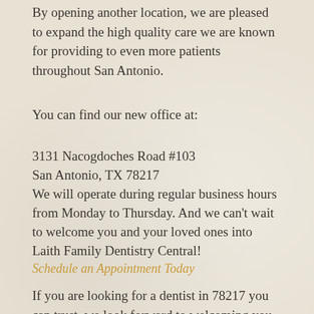By opening another location, we are pleased to expand the high quality care we are known for providing to even more patients throughout San Antonio.
You can find our new office at:
3131 Nacogdoches Road #103
San Antonio, TX 78217
We will operate during regular business hours from Monday to Thursday. And we can't wait to welcome you and your loved ones into Laith Family Dentistry Central!
Schedule an Appointment Today
If you are looking for a dentist in 78217 you can trust, we look forward to welcoming you into the office of